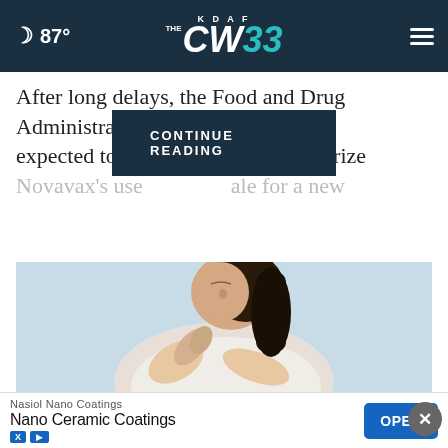87° KDAF CW33
After long delays, the Food and Drug Administration is expected to de… er to authorize Novavax's use… ale for a new
CONTINUE READING
[Figure (photo): Woman in white sweater scratching her arm, suggesting skin irritation or psoriasis, light blue background]
Do You Know What Plaque Psoriasis Is? (Take a Look)
Nasiol Nano Coatings
Nano Ceramic Coatings
OPEN